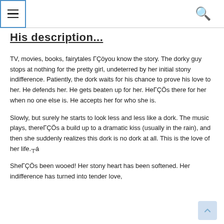≡  🔍
His description...
TV, movies, books, fairytales ΓÇöyou know the story. The dorky guy stops at nothing for the pretty girl, undeterred by her initial stony indifference. Patiently, the dork waits for his chance to prove his love to her. He defends her. He gets beaten up for her. HeΓÇÖs there for her when no one else is. He accepts her for who she is.
Slowly, but surely he starts to look less and less like a dork. The music plays, thereΓÇÖs a build up to a dramatic kiss (usually in the rain), and then she suddenly realizes this dork is no dork at all. This is the love of her life.┬á
SheΓÇÖs been wooed! Her stony heart has been softened. Her indifference has turned into tender love,